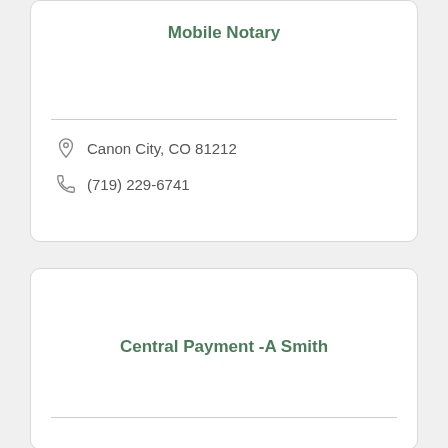Mobile Notary
Canon City, CO 81212
(719) 229-6741
Central Payment -A Smith